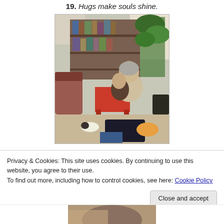19. Hugs make souls shine.
[Figure (photo): An elderly woman sitting on the floor hugging a young child in a cluttered living room with bookshelves, toys, plants, and furniture in the background.]
Privacy & Cookies: This site uses cookies. By continuing to use this website, you agree to their use.
To find out more, including how to control cookies, see here: Cookie Policy
Close and accept